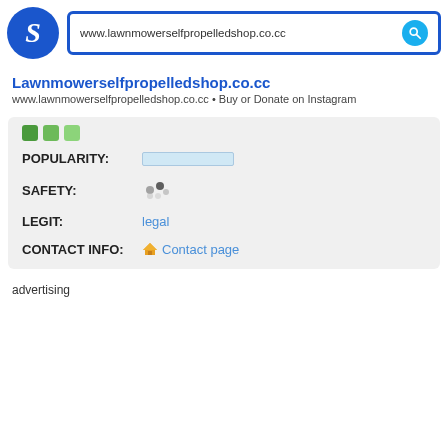www.lawnmowerselfpropelledshop.co.cc
Lawnmowerselfpropelledshop.co.cc
www.lawnmowerselfpropelledshop.co.cc • Buy or Donate on Instagram
| POPULARITY: | progress bar (low) |
| SAFETY: | loading indicator |
| LEGIT: | legal |
| CONTACT INFO: | Contact page |
advertising